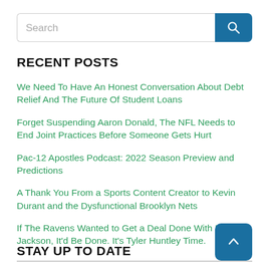Search
RECENT POSTS
We Need To Have An Honest Conversation About Debt Relief And The Future Of Student Loans
Forget Suspending Aaron Donald, The NFL Needs to End Joint Practices Before Someone Gets Hurt
Pac-12 Apostles Podcast: 2022 Season Preview and Predictions
A Thank You From a Sports Content Creator to Kevin Durant and the Dysfunctional Brooklyn Nets
If The Ravens Wanted to Get a Deal Done With Lamar Jackson, It'd Be Done. It's Tyler Huntley Time.
STAY UP TO DATE